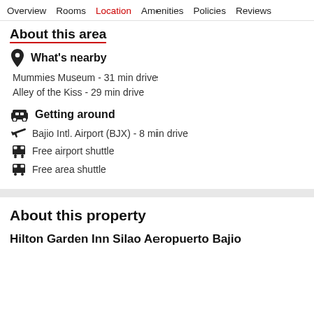Overview   Rooms   Location   Amenities   Policies   Reviews
About this area
What's nearby
Mummies Museum - 31 min drive
Alley of the Kiss - 29 min drive
Getting around
Bajio Intl. Airport (BJX) - 8 min drive
Free airport shuttle
Free area shuttle
About this property
Hilton Garden Inn Silao Aeropuerto Bajio